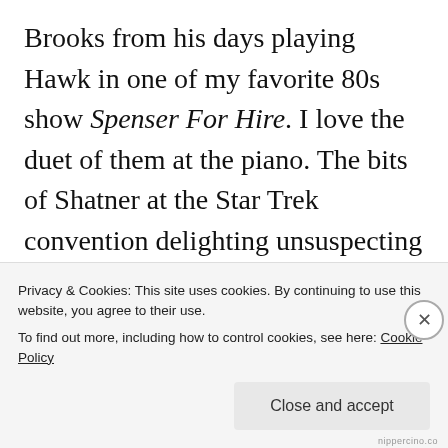Brooks from his days playing Hawk in one of my favorite 80s show Spenser For Hire. I love the duet of them at the piano. The bits of Shatner at the Star Trek convention delighting unsuspecting Trekkies are a hoot, and it really keeps things in perspective. Some people might consider him pompous for being embarrassed for being known as a Star Trek captain, but I kind of understand where he's coming from given his classical training.
Privacy & Cookies: This site uses cookies. By continuing to use this website, you agree to their use.
To find out more, including how to control cookies, see here: Cookie Policy
Close and accept